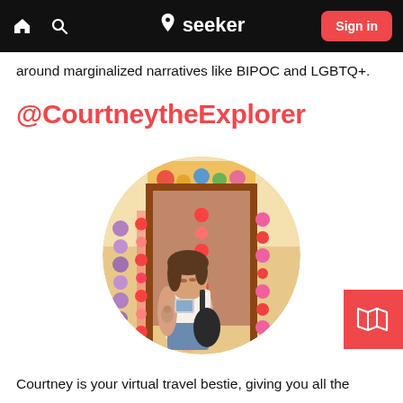seeker  Sign in
around marginalized narratives like BIPOC and LGBTQ+.
@CourtneytheExplorer
[Figure (photo): Circular profile photo of a young woman with tattoos on her arm, looking at her phone, standing in front of a colorful market stall with decorative hanging pom-pom garlands and heart-decorated walls]
[Figure (other): Red square button with a white map/fold icon (FAB floating action button)]
Courtney is your virtual travel bestie, giving you all the